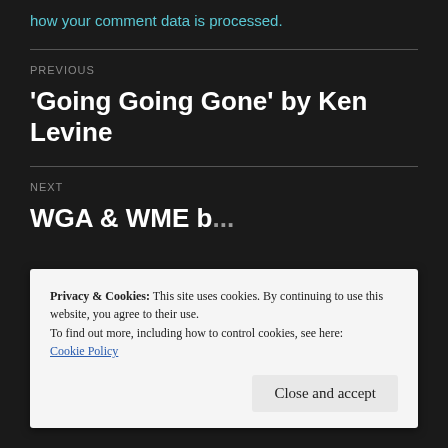how your comment data is processed.
PREVIOUS
'Going Going Gone' by Ken Levine
NEXT
WGA & WME b...
Privacy & Cookies: This site uses cookies. By continuing to use this website, you agree to their use.
To find out more, including how to control cookies, see here: Cookie Policy
Close and accept